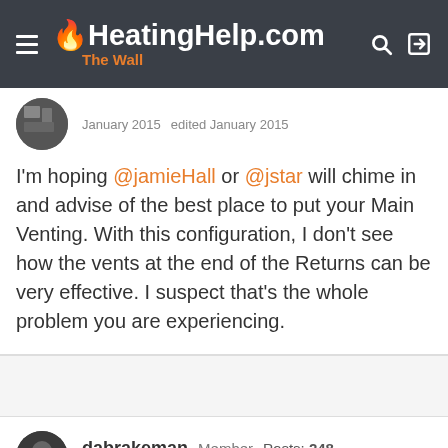HeatingHelp.com The Wall
January 2015  edited January 2015
I'm hoping @jamieHall or @jstar will chime in and advise of the best place to put your Main Venting. With this configuration, I don't see how the vents at the end of the Returns can be very effective. I suspect that's the whole problem you are experiencing.
dabrakeman  Member  Posts: 248
January 2015
I suspect they have been there for 125 years. There is